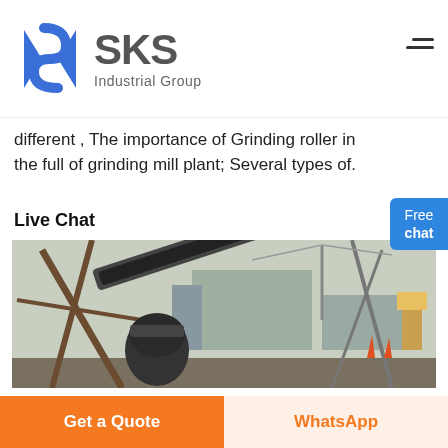[Figure (logo): SKS Industrial Group logo with blue angular S-shaped icon and gray SKS text with Industrial Group subtitle]
different , The importance of Grinding roller in the full of grinding mill plant; Several types of.
Live Chat
[Figure (photo): Industrial machinery photo showing conveyor belts, crushing equipment and industrial structures at a mining or quarry site]
Get a Quote
WhatsApp